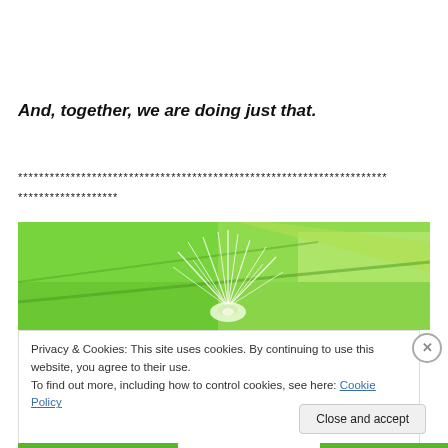And, together, we are doing just that.
******************************************************************************
*******************
[Figure (photo): Close-up photo of a green plant with wispy white feathery strands against a vibrant green leaf background]
Privacy & Cookies: This site uses cookies. By continuing to use this website, you agree to their use.
To find out more, including how to control cookies, see here: Cookie Policy
Close and accept